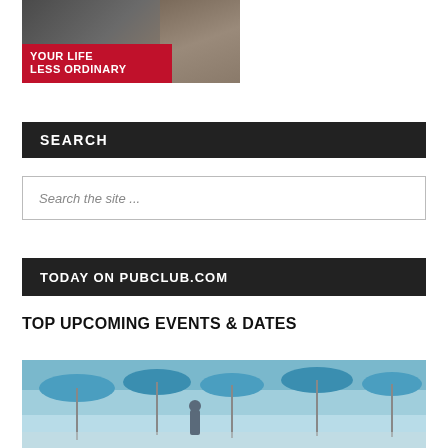[Figure (photo): Advertisement banner image showing people at a bar/pub with overlay text 'YOUR LIFE LESS ORDINARY' on red background]
SEARCH
Search the site ...
TODAY ON PUBCLUB.COM
TOP UPCOMING EVENTS & DATES
[Figure (photo): Outdoor event photo showing blue umbrellas/parasols and people at what appears to be a pool or outdoor venue]